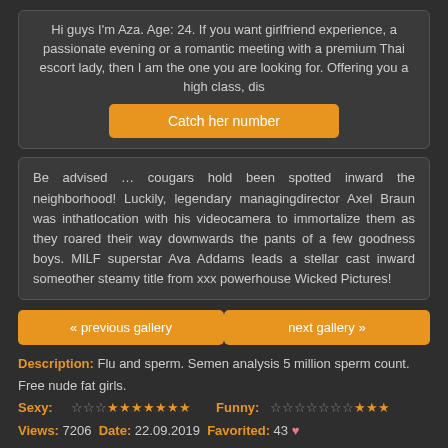Hi guys I'm Aza. Age: 24. If you want girlfriend experience, a passionate evening or a romantic meeting with a premium Thai escort lady, then I am the one you are looking for. Offering you a high class, dis
Catch her number
Be advised … cougars hold been spotted inward the neighborhood! Luckily, legendary managingdirector Axel Braun was inthatlocation with his videocamera to immortalize them as they roared their way downwards the pants of a few goodness boys. MILF superstar Ava Addams leads a stellar cast inward someother steamy title from xxx powerhouse Wicked Pictures!
« previous gallery
next gallery »
Description: Flu and sperm. Semen analysis 5 million sperm count. Free nude fat girls.
Sexy: ★★★★★★★★ Funny: ★★★★
Views: 7206 Date: 22.09.2019 Favorited: 43 ♥
Category: Cumshot
Post a comment
User Comments 3
Nobuko at 15.09.2019 12:08 says: